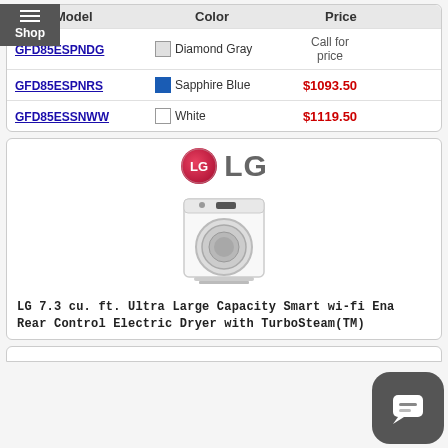| Model | Color | Price |
| --- | --- | --- |
| GFD85ESPNDG | Diamond Gray | Call for price |
| GFD85ESPNRS | Sapphire Blue | $1093.50 |
| GFD85ESSNWW | White | $1119.50 |
[Figure (logo): LG brand logo — pink/red circle with LG letters, followed by large bold LG text]
[Figure (photo): LG white top-load electric dryer appliance product photo]
LG 7.3 cu. ft. Ultra Large Capacity Smart wi-fi Enabled Rear Control Electric Dryer with TurboSteam(TM)